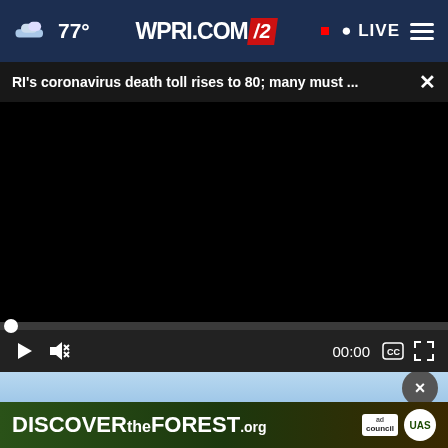77° WPRI.COM/2 LIVE
RI's coronavirus death toll rises to 80; many must ... ×
[Figure (screenshot): Black video player area — paused, no content loaded]
00:00
[Figure (photo): Partial advertisement showing a person lying back with colorful floral imagery]
[Figure (other): DISCOVERtheFOREST.org advertisement banner with Ad Council and US Forest Service logos]